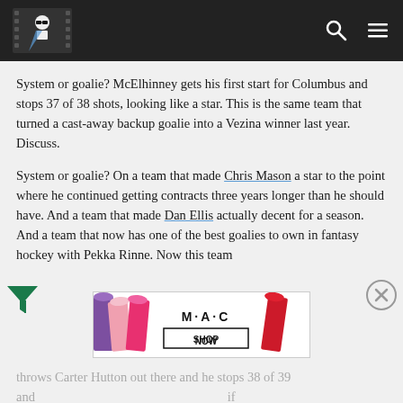[Sports blog header with logo and navigation icons]
System or goalie? McElhinney gets his first start for Columbus and stops 37 of 38 shots, looking like a star. This is the same team that turned a cast-away backup goalie into a Vezina winner last year. Discuss.
System or goalie? On a team that made Chris Mason a star to the point where he continued getting contracts three years longer than he should have. And a team that made Dan Ellis actually decent for a season. And a team that now has one of the best goalies to own in fantasy hockey with Pekka Rinne. Now this team throws Carter Hutton out there and he stops 38 of 39 and ... care ... goalies, right? Nothing to do with Barry Trotz. Discuss.
[Figure (screenshot): M·A·C cosmetics advertisement showing lipsticks with SHOP NOW button]